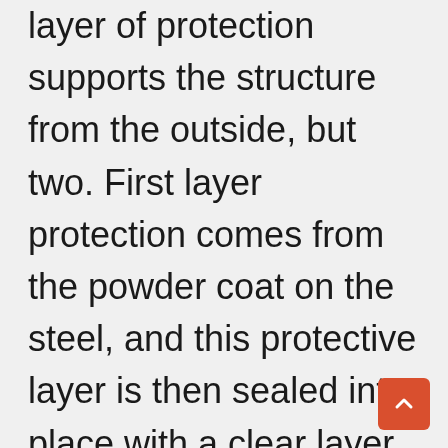layer of protection supports the structure from the outside, but two. First layer protection comes from the powder coat on the steel, and this protective layer is then sealed into place with a clear layer of anti-rust protection.
With two of the biggest problems with shackle hitches solved, there is nothing else that limits the performance or endurance of this extremely hardcore and useful tool.